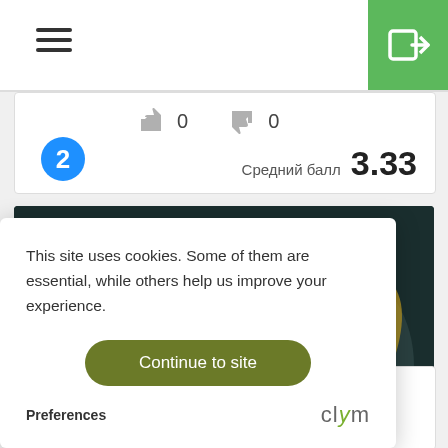Navigation header with hamburger menu and login button
[Figure (screenshot): Partial card showing thumbs up/down icons with vote counts 0 and 0, badge number 2, and average score label 'Средний балл 3.33']
[Figure (screenshot): Dark themed image card with decorative content and text '.M.' and 'by AI']
This site uses cookies. Some of them are essential, while others help us improve your experience.
Continue to site
Preferences
[Figure (logo): Clym logo with stylized green checkmark in the letter y]
AI Music CompoZAr